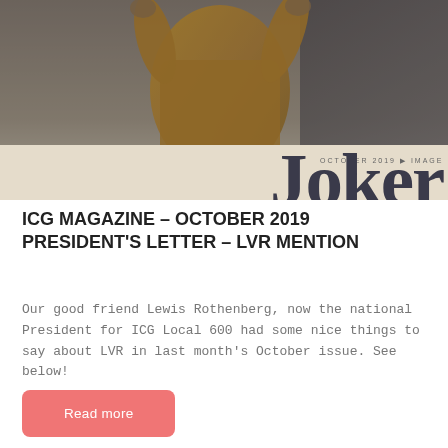[Figure (photo): Cropped photo of a person wearing a yellow/mustard jacket, upper body and hands visible, dark background, partially obscured]
OCTOBER 2019 ▶ IMAGE PIPELI
ICG MAGAZINE – OCTOBER 2019 PRESIDENT'S LETTER – LVR MENTION
Our good friend Lewis Rothenberg, now the national President for ICG Local 600 had some nice things to say about LVR in last month's October issue. See below!
Read more